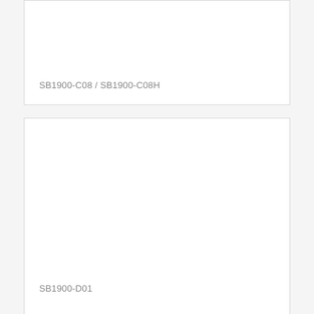[Figure (other): Product image placeholder box for SB1900-C08 / SB1900-C08H]
SB1900-C08 / SB1900-C08H
[Figure (other): Product image placeholder box for SB1900-D01]
SB1900-D01